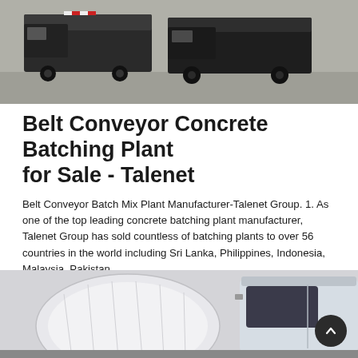[Figure (photo): Photo of military or commercial trucks/vehicles parked in a lot, seen from front/side angle, dark colored.]
Belt Conveyor Concrete Batching Plant for Sale - Talenet
Belt Conveyor Batch Mix Plant Manufacturer-Talenet Group. 1. As one of the top leading concrete batching plant manufacturer, Talenet Group has sold countless of batching plants to over 56 countries in the world including Sri Lanka, Philippines, Indonesia, Malaysia, Pakistan, ...
Learn More
[Figure (photo): Photo of a white concrete mixer truck close-up, showing the drum and cab.]